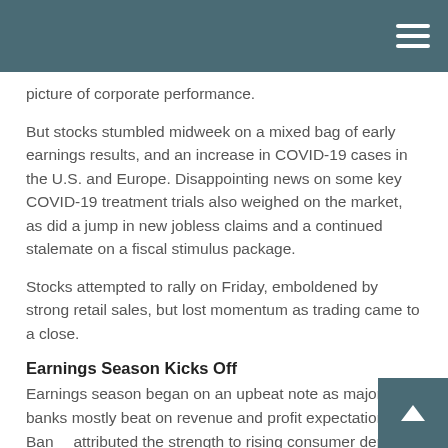picture of corporate performance.
But stocks stumbled midweek on a mixed bag of early earnings results, and an increase in COVID-19 cases in the U.S. and Europe. Disappointing news on some key COVID-19 treatment trials also weighed on the market, as did a jump in new jobless claims and a continued stalemate on a fiscal stimulus package.
Stocks attempted to rally on Friday, emboldened by strong retail sales, but lost momentum as trading came to a close.
Earnings Season Kicks Off
Earnings season began on an upbeat note as major banks mostly beat on revenue and profit expectations. Banks attributed the strength to rising consumer deposits, a drop in the amount of money set aside for failing loans, and